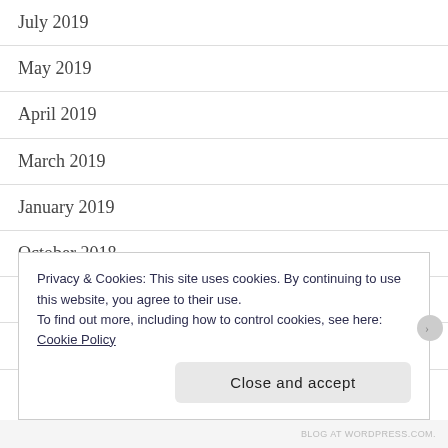July 2019
May 2019
April 2019
March 2019
January 2019
October 2018
March 2018
February 2018
June 2017
Privacy & Cookies: This site uses cookies. By continuing to use this website, you agree to their use.
To find out more, including how to control cookies, see here: Cookie Policy
Close and accept
BLOG AT WORDPRESS.COM.